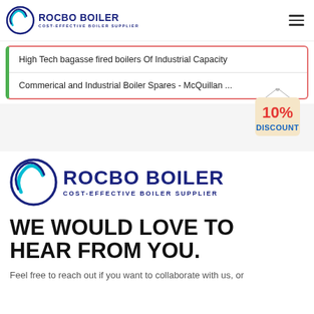ROCBO BOILER COST-EFFECTIVE BOILER SUPPLIER
High Tech bagasse fired boilers Of Industrial Capacity
Commerical and Industrial Boiler Spares - McQuillan ...
[Figure (illustration): 10% DISCOUNT badge/tag hanging with a string]
[Figure (logo): ROCBO BOILER Cost-Effective Boiler Supplier logo with circular emblem]
WE WOULD LOVE TO HEAR FROM YOU.
Feel free to reach out if you want to collaborate with us, or